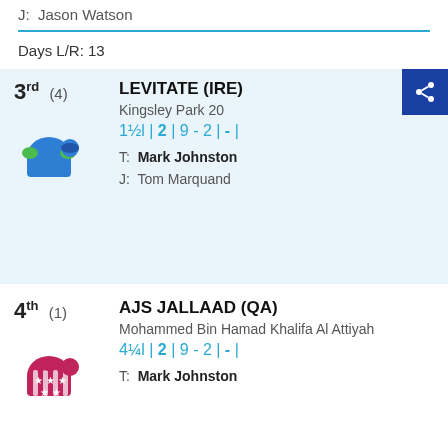J:  Jason Watson
Days L/R: 13
3rd (4) LEVITATE (IRE) Kingsley Park 20 1½l | 2 | 9 - 2 | - | T: Mark Johnston J: Tom Marquand
4th (1) AJS JALLAAD (QA) Mohammed Bin Hamad Khalifa Al Attiyah 4¼l | 2 | 9 - 2 | - | T: Mark Johnston